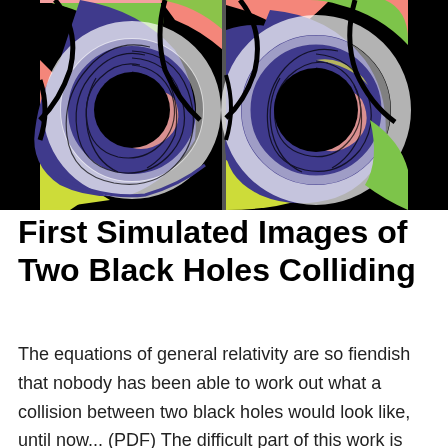[Figure (illustration): Two side-by-side simulated images of black holes colliding, showing colorful swirling accretion disks with bright regions in pink/salmon, green, yellow/chartreuse, and deep purple/blue. Each image shows a central black circle (the black hole event horizon) surrounded by spiraling light patterns rendered in black curves on white, creating a gravitational lensing effect. The left panel and right panel are nearly mirror images of each other.]
First Simulated Images of Two Black Holes Colliding
The equations of general relativity are so fiendish that nobody has been able to work out what a collision between two black holes would look like, until now... (PDF) The difficult part of this work is calculating the trajectory of the photons using the physics of general